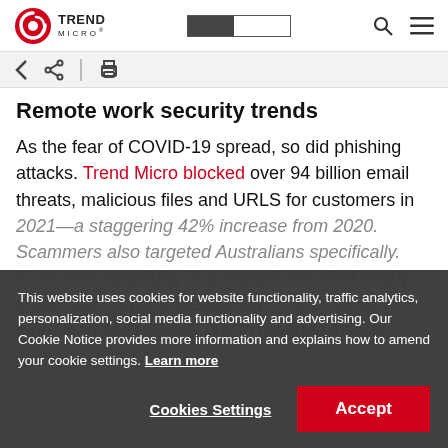[Figure (logo): Trend Micro logo with red circular icon and text TREND MICRO]
Trend Micro website header with logo, search bar toggle, search icon, and menu icon
Remote work security trends
As the fear of COVID-19 spread, so did phishing attacks. Trend Micro blocked over 94 billion email threats, malicious files and URLS for customers in 2021—a staggering 42% increase from 2020. Scammers also targeted Australians specifically. Consumer watchdog Scamwatch recorded nearly 6,000 scam reports mentioning COVID-19 with more than AUD $9,800,000 in reported losses.
This website uses cookies for website functionality, traffic analytics, personalization, social media functionality and advertising. Our Cookie Notice provides more information and explains how to amend your cookie settings. Learn more